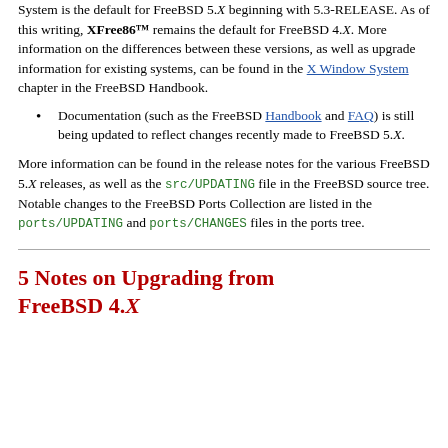System is the default for FreeBSD 5.X beginning with 5.3-RELEASE. As of this writing, XFree86™ remains the default for FreeBSD 4.X. More information on the differences between these versions, as well as upgrade information for existing systems, can be found in the X Window System chapter in the FreeBSD Handbook.
Documentation (such as the FreeBSD Handbook and FAQ) is still being updated to reflect changes recently made to FreeBSD 5.X.
More information can be found in the release notes for the various FreeBSD 5.X releases, as well as the src/UPDATING file in the FreeBSD source tree. Notable changes to the FreeBSD Ports Collection are listed in the ports/UPDATING and ports/CHANGES files in the ports tree.
5 Notes on Upgrading from FreeBSD 4.X